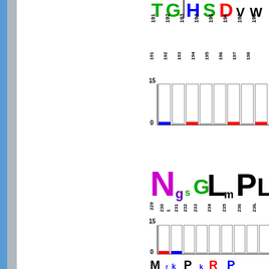[Figure (other): Sequence logo (partial, top-cropped) showing residues TG|HSD with letters colored green, blue, red etc., position numbers 191-198 on rotated x-axis labels, followed by conservation histogram with y-axis 0-15]
[Figure (other): Sequence logo showing residues N(purple)G(purple)S(green)L(black)M(black)P(black)L(black)G(black/partial) at positions 229-236, with conservation histogram below (y-axis 0-15)]
[Figure (other): Sequence logo (partial bottom) showing M(black)R(blue)K... P(black)K(blue)R/E(red) at bottom of page, partially cropped]